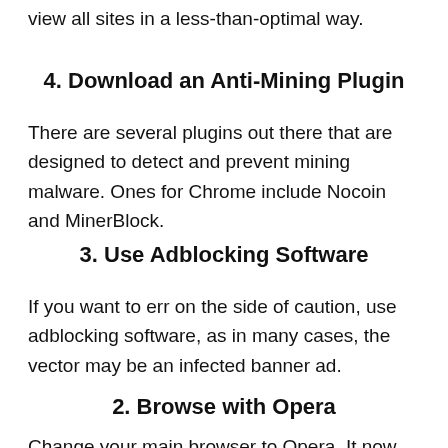view all sites in a less-than-optimal way.
4. Download an Anti-Mining Plugin
There are several plugins out there that are designed to detect and prevent mining malware. Ones for Chrome include Nocoin and MinerBlock.
3. Use Adblocking Software
If you want to err on the side of caution, use adblocking software, as in many cases, the vector may be an infected banner ad.
2. Browse with Opera
Change your main browser to Opera. It now has a